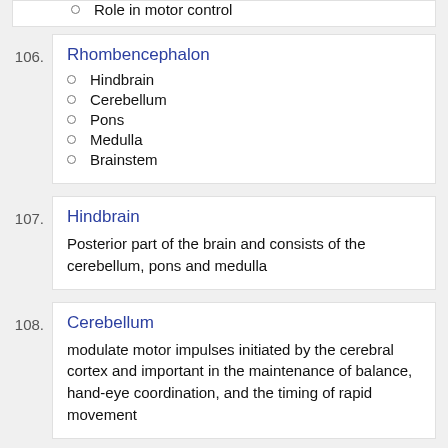Role in motor control
106. Rhombencephalon
Hindbrain
Cerebellum
Pons
Medulla
Brainstem
107. Hindbrain
Posterior part of the brain and consists of the cerebellum, pons and medulla
108. Cerebellum
modulate motor impulses initiated by the cerebral cortex and important in the maintenance of balance, hand-eye coordination, and the timing of rapid movement